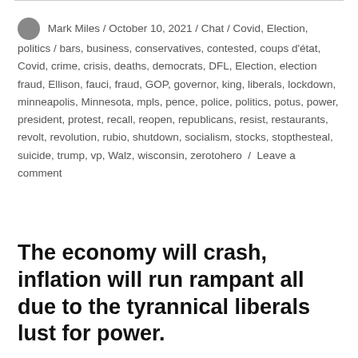Mark Miles / October 10, 2021 / Chat / Covid, Election, politics / bars, business, conservatives, contested, coups d'état, Covid, crime, crisis, deaths, democrats, DFL, Election, election fraud, Ellison, fauci, fraud, GOP, governor, king, liberals, lockdown, minneapolis, Minnesota, mpls, pence, police, politics, potus, power, president, protest, recall, reopen, republicans, resist, restaurants, revolt, revolution, rubio, shutdown, socialism, stocks, stopthesteal, suicide, trump, vp, Walz, wisconsin, zerotohero / Leave a comment
The economy will crash, inflation will run rampant all due to the tyrannical liberals lust for power.